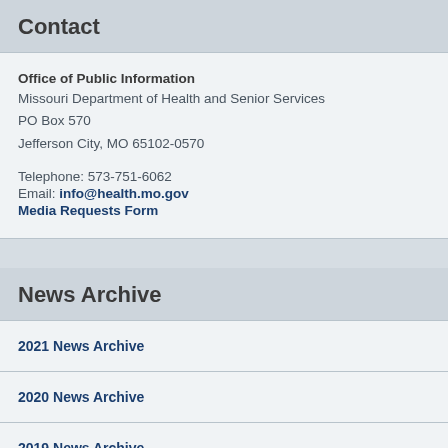Contact
Office of Public Information
Missouri Department of Health and Senior Services
PO Box 570
Jefferson City, MO 65102-0570

Telephone: 573-751-6062
Email: info@health.mo.gov
Media Requests Form
News Archive
2021 News Archive
2020 News Archive
2019 News Archive